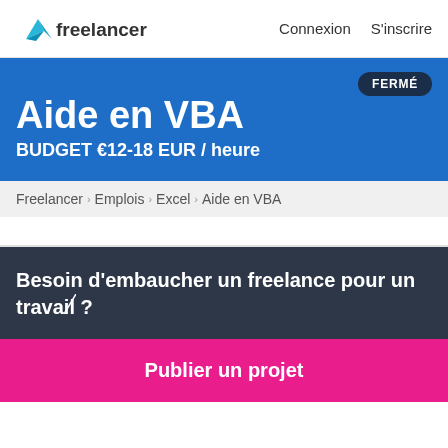freelancer   Connexion   S'inscrire
Aide en VBA
BUDGET €12-18 EUR / heure
FERMÉ
Freelancer › Emplois › Excel › Aide en VBA
Besoin d'embaucher un freelance pour un travail ?
Publier un projet